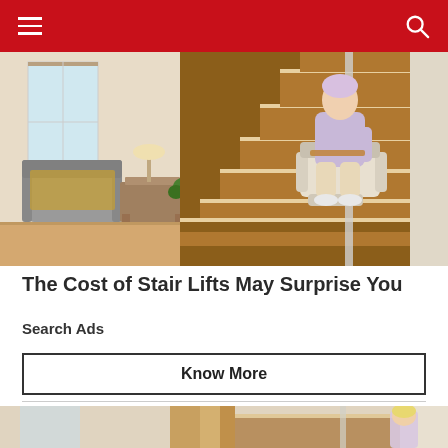Navigation header with menu icon and search icon
[Figure (photo): A person riding a stairlift chair up a wooden staircase in a home interior, with a grey armchair and side table visible on the left]
The Cost of Stair Lifts May Surprise You
Search Ads
Know More
[Figure (photo): An elderly blonde woman standing at the bottom of a wooden staircase with a stairlift rail installed, in a home interior]